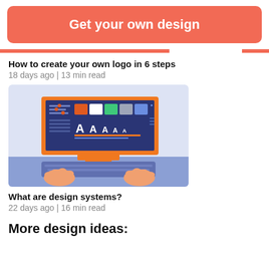Get your own design
How to create your own logo in 6 steps
18 days ago | 13 min read
[Figure (illustration): Illustration of a computer monitor with a design system interface showing color swatches, sliders, and typography samples with 'A A A A A' letters, with hands typing on a keyboard below]
What are design systems?
22 days ago | 16 min read
More design ideas: